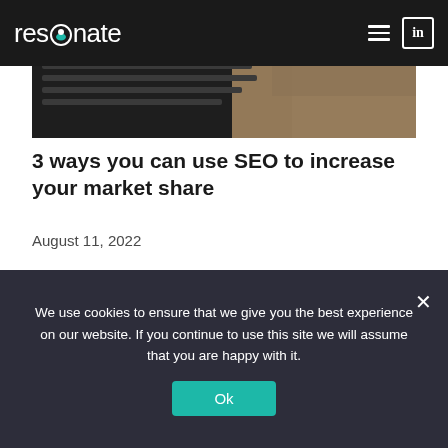resonate
[Figure (photo): Top hero image showing hands typing on a laptop keyboard, dark background]
3 ways you can use SEO to increase your market share
August 11, 2022
[Figure (photo): Second article image showing pencils and a laptop screen with a video call or website]
We use cookies to ensure that we give you the best experience on our website. If you continue to use this site we will assume that you are happy with it.